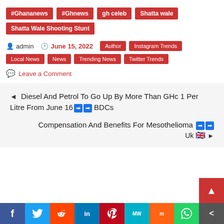#Ghananews
#Ghnews
gh celeb
Shatta wale
Shatta Wale Shooting Stunt
admin  June 15, 2022  Author  Instagram Trends  Local News  News  Trending News  Twitter Trends
Leave a Comment
◄ Diesel And Petrol To Go Up By More Than GHc 1 Per Litre From June 16 ➡➡ BDCs
Compensation And Benefits For Mesothelioma ➡➡ Uk 🇬🇧 ►
[Figure (other): Social media share bar with Facebook, Twitter, Reddit, LinkedIn, Pinterest, MeWe, Mix, WhatsApp, Share buttons]